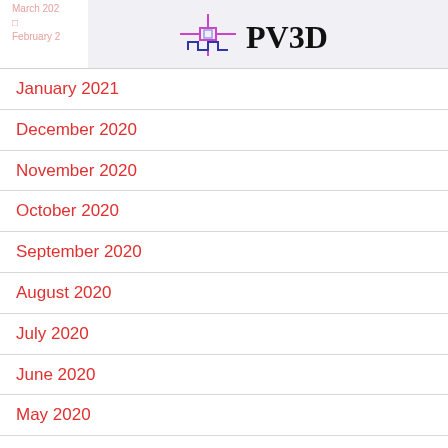March 202...
February 2...
[Figure (logo): PV3D logo with circuit/chip schematic icon and bold PV3D text]
January 2021
December 2020
November 2020
October 2020
September 2020
August 2020
July 2020
June 2020
May 2020
April 2020